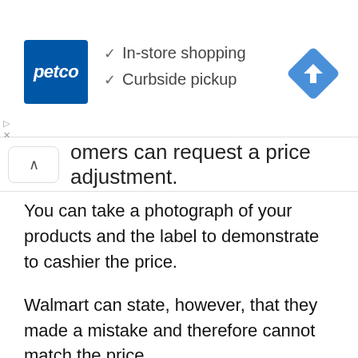[Figure (screenshot): Petco advertisement banner showing Petco logo with blue background, checkmarks for 'In-store shopping' and 'Curbside pickup', and a blue navigation/directions diamond icon on the right.]
omers can request a price adjustment.
You can take a photograph of your products and the label to demonstrate to cashier the price.
Walmart can state, however, that they made a mistake and therefore cannot match the price.
If you want to make things worse, the Walmart manager is likely to abide by the price match